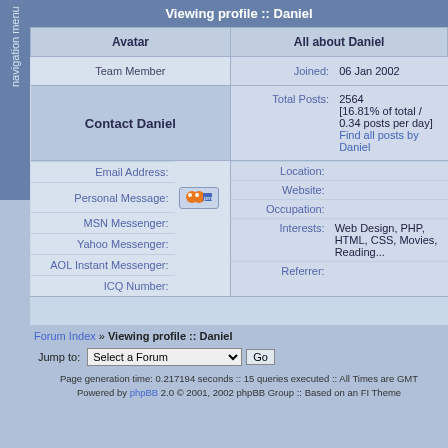navigation menu
Viewing profile :: Daniel
| Avatar | All about Daniel |
| --- | --- |
| Team Member | Joined: 06 Jan 2002 |
| Contact Daniel | Total Posts: 2564 [16.81% of total / 0.34 posts per day] Find all posts by Daniel |
| Email Address: |  |
| Personal Message: | [pm button] |
| MSN Messenger: | Location: |
| Yahoo Messenger: | Website: |
| AOL Instant Messenger: | Occupation: |
| ICQ Number: | Interests: Web Design, PHP, HTML, CSS, Movies, Reading... |
|  | Referrer: |
Forum Index » Viewing profile :: Daniel
Jump to: Select a Forum  Go
Page generation time: 0.217194 seconds :: 15 queries executed :: All Times are GMT Powered by phpBB 2.0 © 2001, 2002 phpBB Group :: Based on an FI Theme